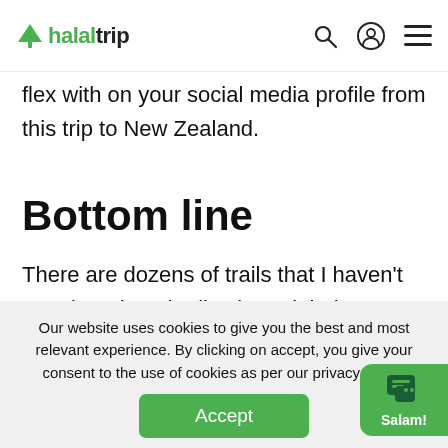halaltrip [search icon] [user icon] [menu icon]
flex with on your social media profile from this trip to New Zealand.
Bottom line
There are dozens of trails that I haven't mentioned on the list that might be as great as the ones I did mention.
Our website uses cookies to give you the best and most relevant experience. By clicking on accept, you give your consent to the use of cookies as per our privacy policy.
Accept
Salam!